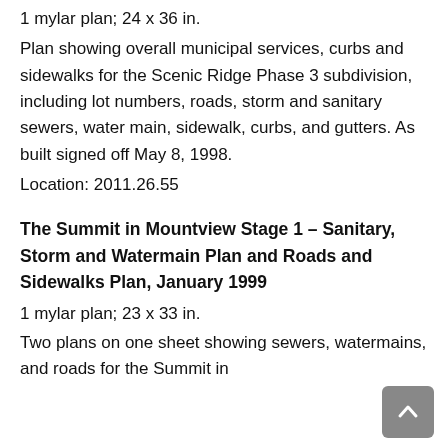1 mylar plan; 24 x 36 in.
Plan showing overall municipal services, curbs and sidewalks for the Scenic Ridge Phase 3 subdivision, including lot numbers, roads, storm and sanitary sewers, water main, sidewalk, curbs, and gutters. As built signed off May 8, 1998.
Location: 2011.26.55
The Summit in Mountview Stage 1 – Sanitary, Storm and Watermain Plan and Roads and Sidewalks Plan, January 1999
1 mylar plan; 23 x 33 in.
Two plans on one sheet showing sewers, watermains, and roads for the Summit in